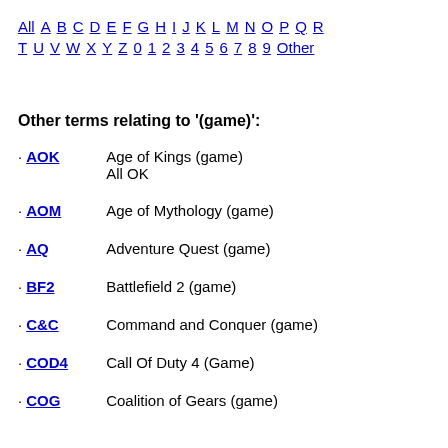All A B C D E F G H I J K L M N O P Q R T U V W X Y Z 0 1 2 3 4 5 6 7 8 9 Other
Other terms relating to '(game)':
AOK — Age of Kings (game) / All OK
AOM — Age of Mythology (game)
AQ — Adventure Quest (game)
BF2 — Battlefield 2 (game)
C&C — Command and Conquer (game)
COD4 — Call Of Duty 4 (Game)
COG — Coalition of Gears (game)